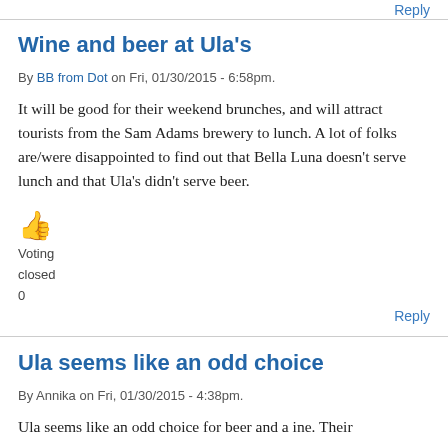Reply
Wine and beer at Ula's
By BB from Dot on Fri, 01/30/2015 - 6:58pm.
It will be good for their weekend brunches, and will attract tourists from the Sam Adams brewery to lunch. A lot of folks are/were disappointed to find out that Bella Luna doesn't serve lunch and that Ula's didn't serve beer.
Voting closed 0
Reply
Ula seems like an odd choice
By Annika on Fri, 01/30/2015 - 4:38pm.
Ula seems like an odd choice for beer and a ine. Their